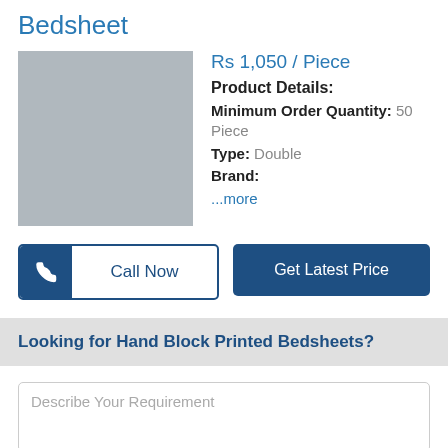Bedsheet
Rs 1,050 / Piece
[Figure (photo): Gray placeholder product image for bedsheet]
Product Details:
Minimum Order Quantity: 50 Piece
Type: Double
Brand:
...more
Call Now
Get Latest Price
Looking for Hand Block Printed Bedsheets?
Describe Your Requirement